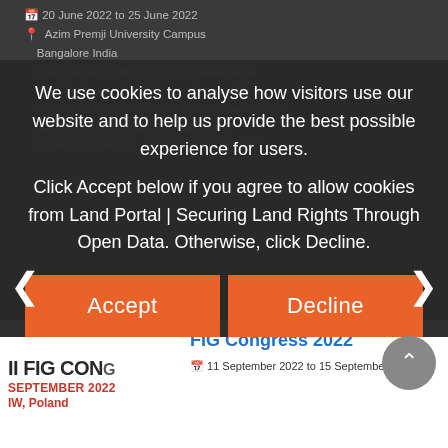📅 20 June 2022 to 25 June 2022
📍 Azim Premji University Campus Bangalore India
The Summer School on "Land Governance and Development" jointly organised by the Society for the Promotion of Land Governance of Azim Premji University, Bangalore and...
Organizers: NKPJC, Azim Premji University
We use cookies to analyse how visitors use our website and to help us provide the best possible experience for users.
Click Accept below if you agree to allow cookies from Land Portal | Securing Land Rights Through Open Data. Otherwise, click Decline.
[Figure (screenshot): Cookie consent overlay with Accept and Decline buttons over a website showing land governance events]
Innovations in Demand–Driven Property Registration
📅 19 January 2022
...globally ...and homes, leaving them vulnerable to conflict, hunger, poverty, and gender-based violence. A
Organizers: New America, Suyo
FIG Congress 2022
📅 11 September 2022 to 15 September 2022